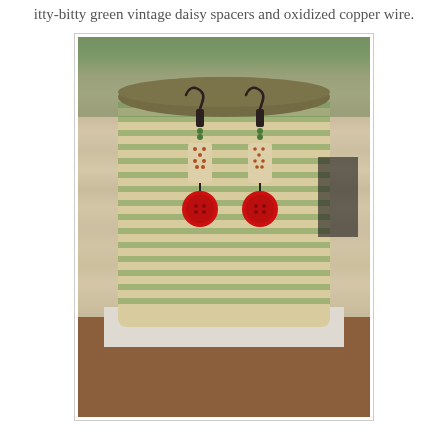itty-bitty green vintage daisy spacers and oxidized copper wire.
[Figure (photo): Photo of a pair of handmade earrings displayed on a wooden thread spool. The earrings feature oxidized copper wire hooks, small green vintage daisy spacers, rectangular bone or clay tiles with floral dot patterns, and large red button pendants at the bottom.]